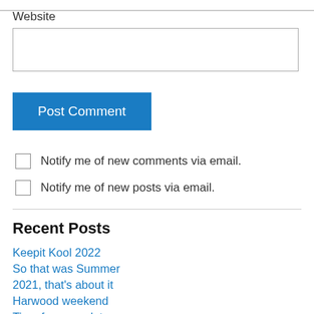Website
Post Comment
Notify me of new comments via email.
Notify me of new posts via email.
Recent Posts
Keepit Kool 2022
So that was Summer
2021, that's about it
Harwood weekend
Time for an update